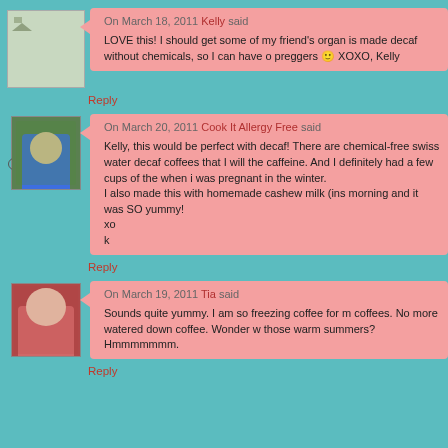On March 18, 2011 Kelly said
LOVE this! I should get some of my friend's organ is made decaf without chemicals, so I can have o preggers 🙂 XOXO, Kelly
Reply
On March 20, 2011 Cook It Allergy Free said
Kelly, this would be perfect with decaf! There are chemical-free swiss water decaf coffees that I will the caffeine. And I definitely had a few cups of the when i was pregnant in the winter. I also made this with homemade cashew milk (ins morning and it was SO yummy! xo k
Reply
On March 19, 2011 Tia said
Sounds quite yummy. I am so freezing coffee for m coffees. No more watered down coffee. Wonder w those warm summers? Hmmmmmmm.
Reply